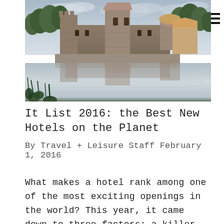[Figure (photo): Photograph of a French chateau/castle reflected in a lake, surrounded by green trees, overcast sky. The castle has round towers and brick/stone walls. The reflection is visible in the still water below, with green reeds/plants at the bottom.]
It List 2016: the Best New Hotels on the Planet
By Travel + Leisure Staff February 1, 2016
What makes a hotel rank among one of the most exciting openings in the world? This year, it came down to three factors: a killer location,